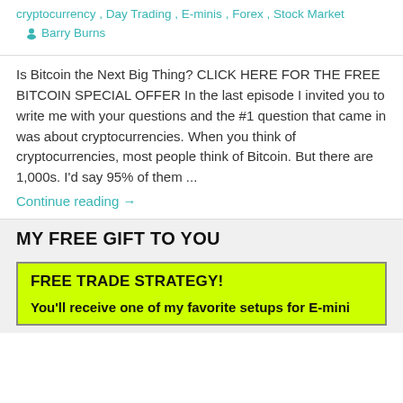cryptocurrency , Day Trading , E-minis , Forex , Stock Market   Barry Burns
Is Bitcoin the Next Big Thing? CLICK HERE FOR THE FREE BITCOIN SPECIAL OFFER In the last episode I invited you to write me with your questions and the #1 question that came in was about cryptocurrencies. When you think of cryptocurrencies, most people think of Bitcoin. But there are 1,000s. I'd say 95% of them ...
Continue reading →
MY FREE GIFT TO YOU
FREE TRADE STRATEGY!
You'll receive one of my favorite setups for E-mini